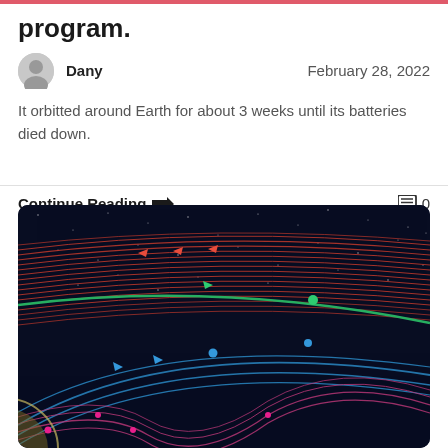program.
Dany    February 28, 2022
It orbitted around Earth for about 3 weeks until its batteries died down.
Continue Reading →    🗨0
[Figure (illustration): Space illustration showing colored orbital trajectories (red, green, blue, pink/magenta) with directional arrows on a dark starfield background, with a partial view of a planet at lower left.]